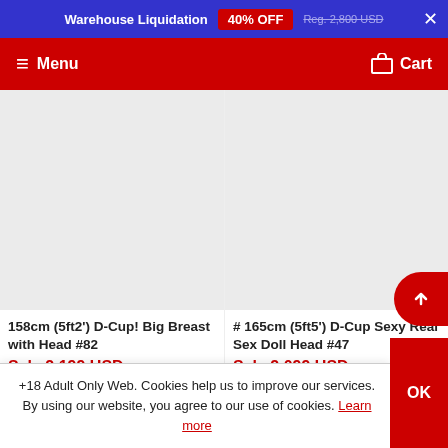Warehouse Liquidation 40% OFF Reg. 2,800 USD ×
≡ Menu   🛒 Cart
158cm (5ft2') D-Cup! Big Breast with Head #82
Sale 2,199 USD
Reg. 2,599 USD
# 165cm (5ft5') D-Cup Sexy Real Sex Doll Head #47
Sale 2,099 USD
Reg. 2,600 USD
+18 Adult Only Web. Cookies help us to improve our services. By using our website, you agree to our use of cookies. Learn more